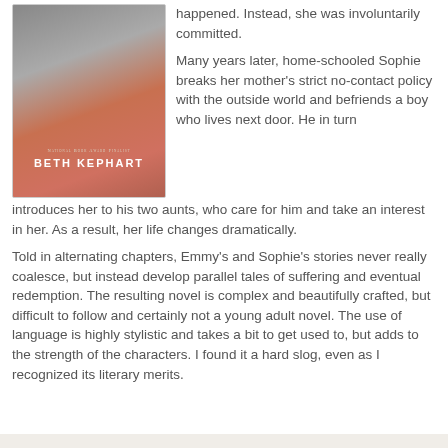[Figure (illustration): Book cover for a novel by Beth Kephart, National Book Award Finalist. Shows a figure with reddish/orange tones and the author's name in bold white text.]
happened. Instead, she was involuntarily committed.
Many years later, home-schooled Sophie breaks her mother's strict no-contact policy with the outside world and befriends a boy who lives next door. He in turn introduces her to his two aunts, who care for him and take an interest in her. As a result, her life changes dramatically.
Told in alternating chapters, Emmy's and Sophie's stories never really coalesce, but instead develop parallel tales of suffering and eventual redemption. The resulting novel is complex and beautifully crafted, but difficult to follow and certainly not a young adult novel. The use of language is highly stylistic and takes a bit to get used to, but adds to the strength of the characters. I found it a hard slog, even as I recognized its literary merits.